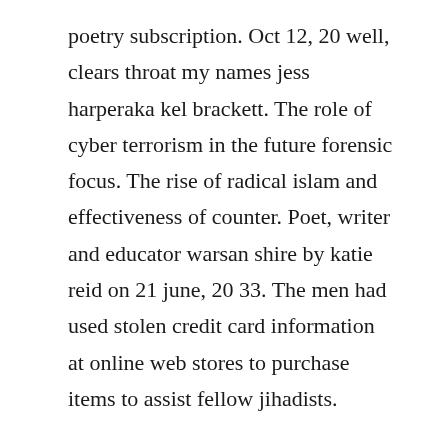poetry subscription. Oct 12, 20 well, clears throat my names jess harperaka kel brackett. The role of cyber terrorism in the future forensic focus. The rise of radical islam and effectiveness of counter. Poet, writer and educator warsan shire by katie reid on 21 june, 20 33. The men had used stolen credit card information at online web stores to purchase items to assist fellow jihadists.
He is a computer programmer and web designer by trade but quit his job to run internet haganah. Poetry writing begins by